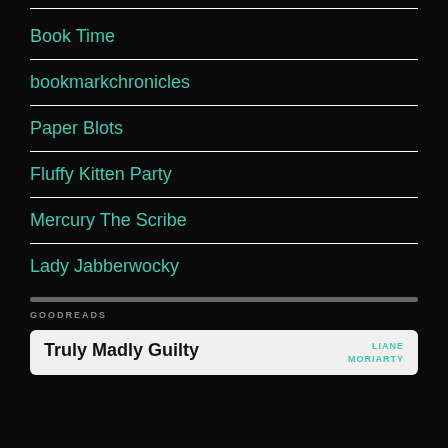Book Time
bookmarkchronicles
Paper Blots
Fluffy Kitten Party
Mercury The Scribe
Lady Jabberwocky
GOODREADS
Truly Madly Guilty
LIANE MORIARTY